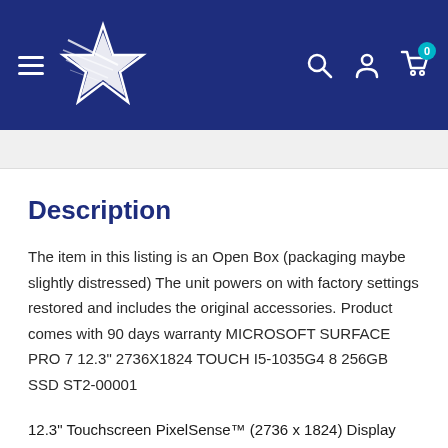Navigation header with logo, hamburger menu, search, account, and cart icons
Description
The item in this listing is an Open Box (packaging maybe slightly distressed) The unit powers on with factory settings restored and includes the original accessories. Product comes with 90 days warranty MICROSOFT SURFACE PRO 7 12.3" 2736X1824 TOUCH I5-1035G4 8 256GB SSD ST2-00001
12.3" Touchscreen PixelSense™ (2736 x 1824) Display
Intel® Core™ i5-1035G4 (Quad-Core) Processor
8GB LPDDR4x RAM • 256GB Solid State Drive